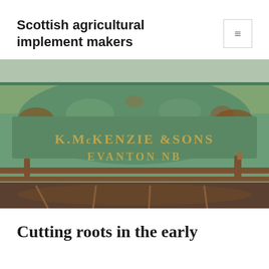Scottish agricultural implement makers
[Figure (photo): Close-up photograph of a weathered green cast iron agricultural implement bearing the embossed text 'K. McKENZIE & SONS' and 'EVANTON NB', showing heavy rust and patina with metal bands around the base.]
Cutting roots in the early